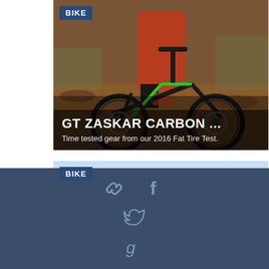[Figure (photo): Mountain biker on a trail with a black and green GT Zaskar Carbon bike, rider wearing red jersey and shorts, desert/scrubland background. Blue 'BIKE' label badge in top left. Overlay text at bottom reads 'GT ZASKAR CARBON ...' and 'Time tested gear from our 2016 Fat Tire Test.']
[Figure (photo): Partial view of a second card with blue sky background and 'BIKE' label badge in top left corner.]
[Figure (infographic): Dark blue footer bar with social sharing icons: chain link icon, Facebook 'f' icon, Twitter bird icon, and Google 'g+' icon.]